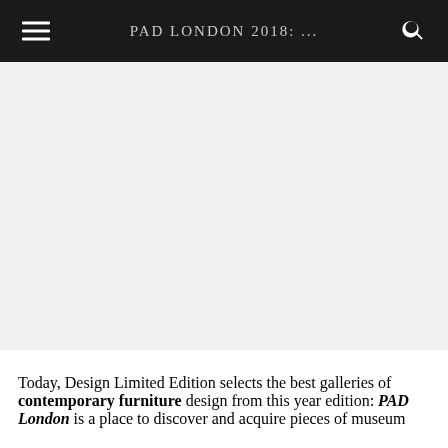PAD LONDON 2018: ...
[Figure (photo): Large image area showing PAD London 2018 content, appears blank/white in this rendering]
Today, Design Limited Edition selects the best galleries of contemporary furniture design from this year edition: PAD London is a place to discover and acquire pieces of museum